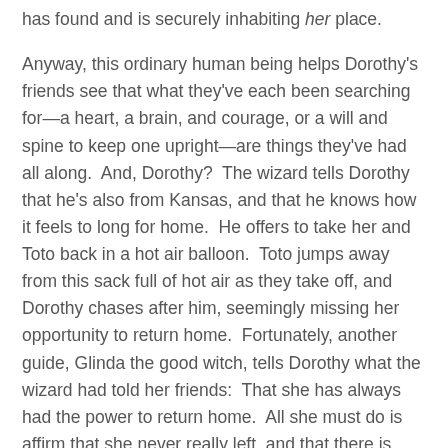has found and is securely inhabiting her place.
Anyway, this ordinary human being helps Dorothy's friends see that what they've each been searching for—a heart, a brain, and courage, or a will and spine to keep one upright—are things they've had all along.  And, Dorothy?  The wizard tells Dorothy that he's also from Kansas, and that he knows how it feels to long for home.  He offers to take her and Toto back in a hot air balloon.  Toto jumps away from this sack full of hot air as they take off, and Dorothy chases after him, seemingly missing her opportunity to return home.  Fortunately, another guide, Glinda the good witch, tells Dorothy what the wizard had told her friends:  That she has always had the power to return home.  All she must do is affirm that she never really left, and that there is, indeed, no place like home.  With three taps of her